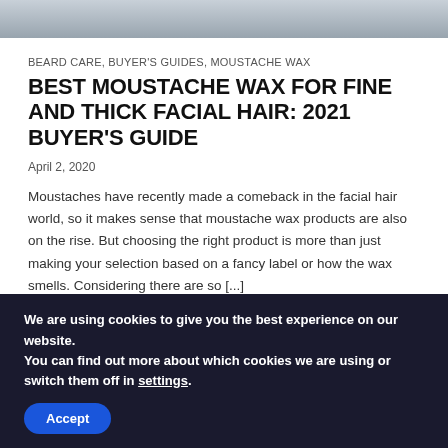[Figure (photo): Partial photo strip at the top of the page showing a person, cropped to show only the bottom portion]
BEARD CARE, BUYER'S GUIDES, MOUSTACHE WAX
BEST MOUSTACHE WAX FOR FINE AND THICK FACIAL HAIR: 2021 BUYER'S GUIDE
April 2, 2020
Moustaches have recently made a comeback in the facial hair world, so it makes sense that moustache wax products are also on the rise. But choosing the right product is more than just making your selection based on a fancy label or how the wax smells. Considering there are so [...]
We are using cookies to give you the best experience on our website.
You can find out more about which cookies we are using or switch them off in settings.
Accept